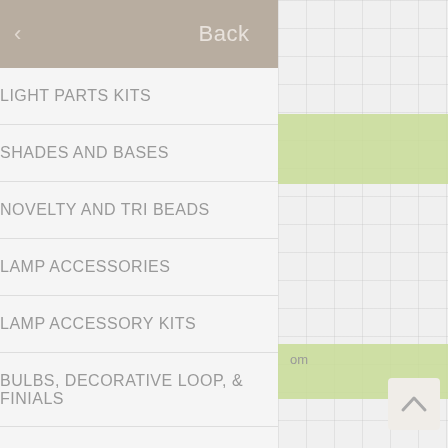Back
LIGHT PARTS KITS
SHADES AND BASES
NOVELTY AND TRI BEADS
LAMP ACCESSORIES
LAMP ACCESSORY KITS
BULBS, DECORATIVE LOOP, & FINIALS
ASSORTED HARDWARE
LAMPS & CANDLES